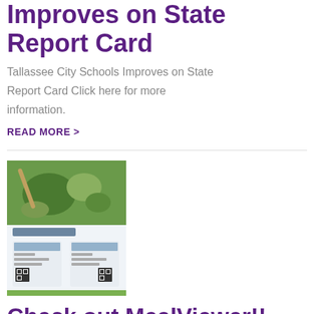Improves on State Report Card
Tallassee City Schools Improves on State Report Card Click here for more information.
READ MORE >
[Figure (photo): MealViewer app promotional image showing 'Let's Do Lunch' text and app screenshots with QR codes]
Check out MealViewer!!
Tallassee City Schools now offers MealViewer, a convenient online service